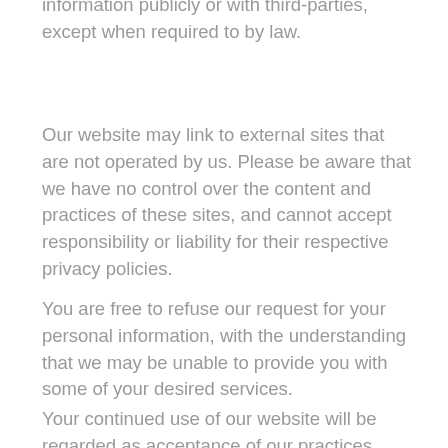We don't share any personally identifying information publicly or with third-parties, except when required to by law.
Our website may link to external sites that are not operated by us. Please be aware that we have no control over the content and practices of these sites, and cannot accept responsibility or liability for their respective privacy policies.
You are free to refuse our request for your personal information, with the understanding that we may be unable to provide you with some of your desired services.
Your continued use of our website will be regarded as acceptance of our practices